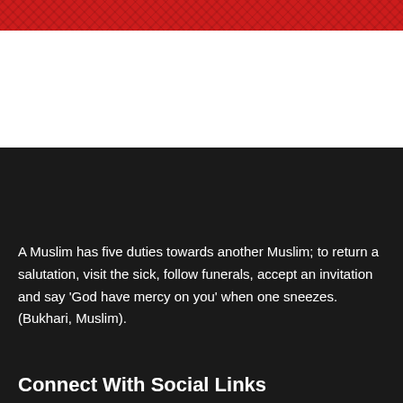[Figure (illustration): Red banner with diagonal crosshatch pattern at top of page]
A Muslim has five duties towards another Muslim; to return a salutation, visit the sick, follow funerals, accept an invitation and say 'God have mercy on you' when one sneezes. (Bukhari, Muslim).
Connect With Social Links